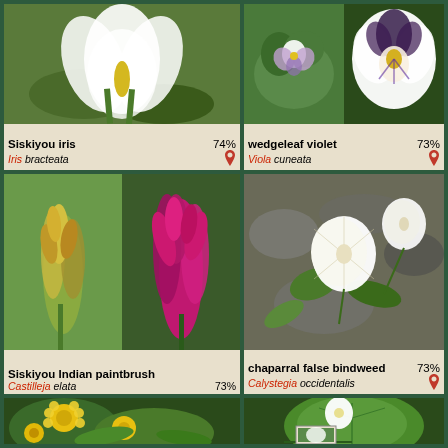[Figure (photo): Siskiyou iris flower, white petals with yellow, surrounded by green leaves]
Siskiyou iris 74%
Iris bracteata
[Figure (photo): Wedgeleaf violet small flower with leaves]
[Figure (photo): Wedgeleaf violet large close-up, white petals with purple]
wedgeleaf violet 73%
Viola cuneata
[Figure (photo): Siskiyou Indian paintbrush two shots - yellow-green and bright magenta spikes]
Siskiyou Indian paintbrush
Castilleja elata 73%
[Figure (photo): Chaparral false bindweed, white trumpet-shaped flowers on rocky ground]
chaparral false bindweed 73%
Calystegia occidentalis
[Figure (photo): Yellow daisy-like flowers with green leaves on dark rocky soil]
[Figure (photo): Large round green leaf with small white flower, small inset photo]